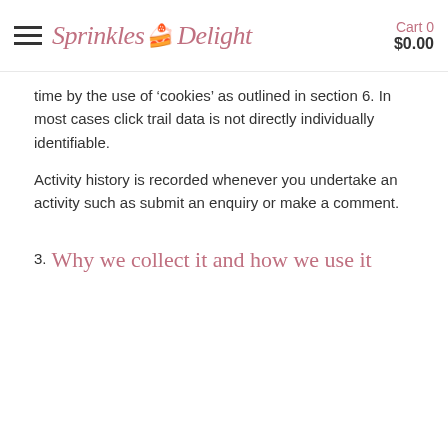Sprinkles Delight  Cart 0  $0.00
time by the use of ‘cookies’ as outlined in section 6. In most cases click trail data is not directly individually identifiable.
Activity history is recorded whenever you undertake an activity such as submit an enquiry or make a comment.
3. Why we collect it and how we use it